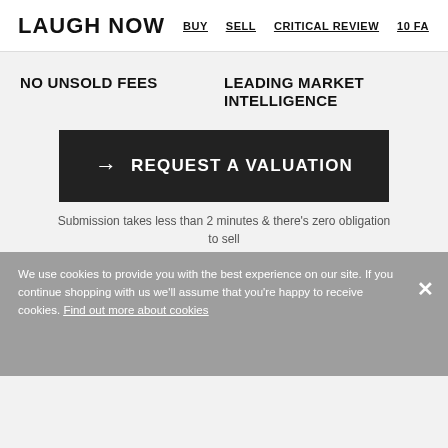LAUGH NOW BUY SELL CRITICAL REVIEW 10 FA
NO UNSOLD FEES
LEADING MARKET INTELLIGENCE
→ REQUEST A VALUATION
Submission takes less than 2 minutes & there's zero obligation to sell
We use cookies to provide you with the best experience on our site. If you continue shopping with us we'll assume that you're happy to receive cookies. Find out more about cookies